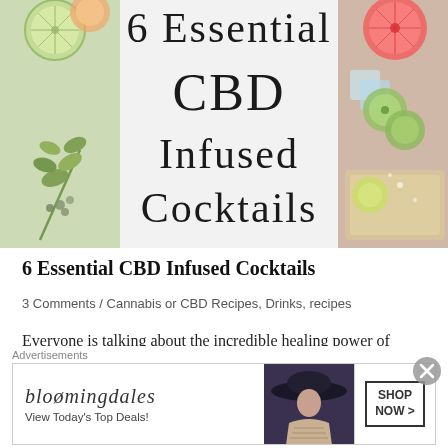[Figure (photo): Hero banner image for '6 Essential CBD Infused Cocktails' with cocktail ingredients including cucumber slices, herbs, grapefruit, and ice on the sides, with the title text in the center on light gray background]
6 Essential CBD Infused Cocktails
3 Comments / Cannabis or CBD Recipes, Drinks, recipes
Everyone is talking about the incredible healing power of CBD oil. We have 6 delicious recipes infused with CBD to heal your body and soothe your soul. The holidays are here, and it's time to relax with
[Figure (screenshot): Bloomingdale's advertisement banner: 'Advertisements' label, Bloomingdale's logo, 'View Today's Top Deals!' text, photo of woman in hat, 'SHOP NOW >' button]